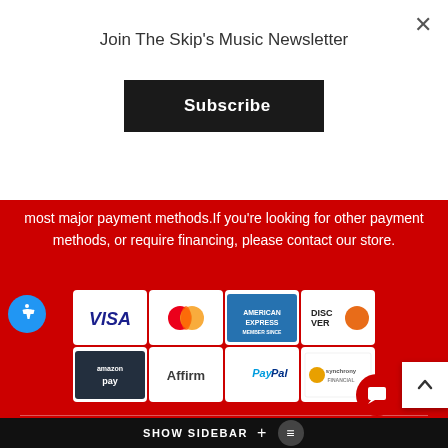Join The Skip's Music Newsletter
Subscribe
most major payment methods.If you're looking for other payment methods, or require financing, please contact our store.
[Figure (infographic): Payment method icons: Visa, Mastercard, American Express, Discover, Amazon Pay, Affirm, PayPal, Synchrony]
Store Locations
Sacramento Location
[Figure (map): Google map showing Sacramento location near Capital City Honda, Deseret Inc Store & Do..., Sacramento Chrysler Dodge Jeep Ram, Morse M...]